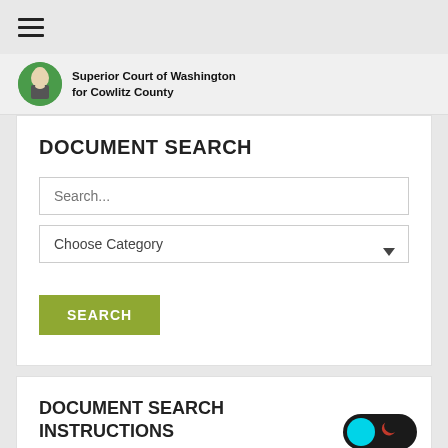☰
[Figure (logo): Superior Court of Washington for Cowlitz County logo with George Washington portrait in green circle]
DOCUMENT SEARCH
Search...
Choose Category
SEARCH
DOCUMENT SEARCH INSTRUCTIONS